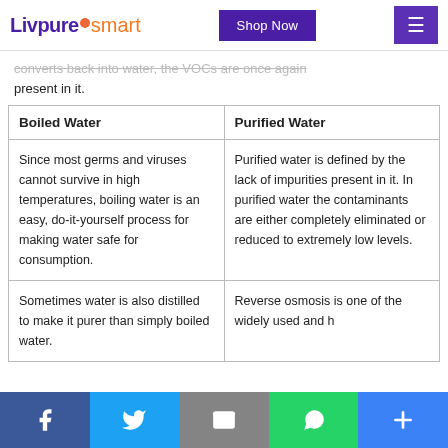Livpure smart | Shop Now
converts back into water, the VOCs are once again present in it.
| Boiled Water | Purified Water |
| --- | --- |
| Since most germs and viruses cannot survive in high temperatures, boiling water is an easy, do-it-yourself process for making water safe for consumption. | Purified water is defined by the lack of impurities present in it. In purified water the contaminants are either completely eliminated or reduced to extremely low levels. |
| Sometimes water is also distilled to make it purer than simply boiled water. | Reverse osmosis is one of the widely used and highly effective water purification technologies. |